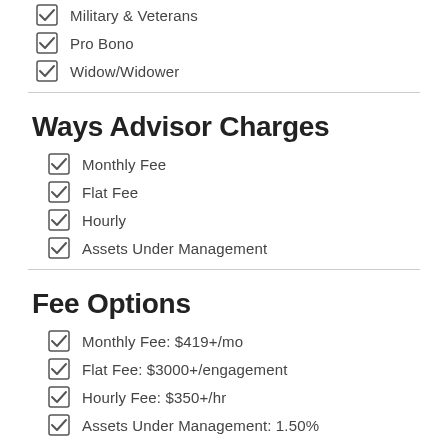Military & Veterans
Pro Bono
Widow/Widower
Ways Advisor Charges
Monthly Fee
Flat Fee
Hourly
Assets Under Management
Fee Options
Monthly Fee: $419+/mo
Flat Fee: $3000+/engagement
Hourly Fee: $350+/hr
Assets Under Management: 1.50%